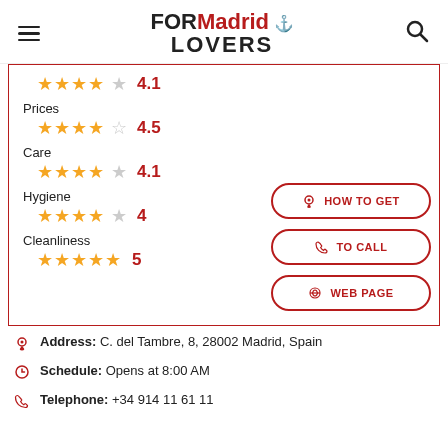FORMadrid LOVERS
4.1 (stars: 4 out of 5)
Prices
4.5 (stars: 4.5 out of 5)
Care
4.1 (stars: 4 out of 5)
Hygiene
4 (stars: 4 out of 5)
Cleanliness
5 (stars: 5 out of 5)
HOW TO GET
TO CALL
WEB PAGE
Address: C. del Tambre, 8, 28002 Madrid, Spain
Schedule: Opens at 8:00 AM
Telephone: +34 914 11 61 11